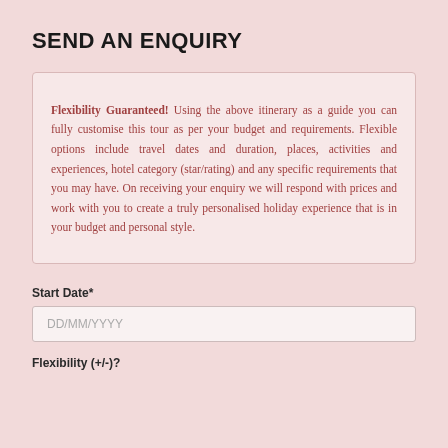SEND AN ENQUIRY
Flexibility Guaranteed! Using the above itinerary as a guide you can fully customise this tour as per your budget and requirements. Flexible options include travel dates and duration, places, activities and experiences, hotel category (star/rating) and any specific requirements that you may have. On receiving your enquiry we will respond with prices and work with you to create a truly personalised holiday experience that is in your budget and personal style.
Start Date*
DD/MM/YYYY
Flexibility (+/-)?